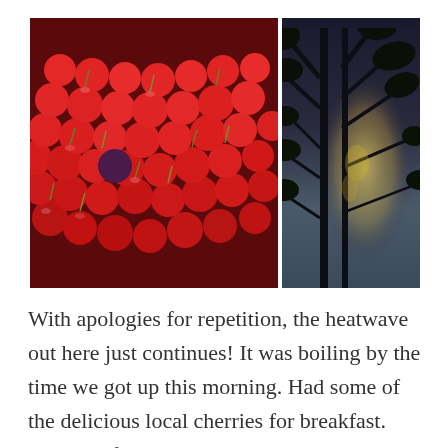[Figure (photo): Two side-by-side photos: left photo shows a large pile of bright red cherries with stems filling a bowl; right photo shows a dark silhouette of cherry tree branches against a bright sky at dusk or dawn.]
With apologies for repetition, the heatwave out here just continues!  It was boiling by the time we got up this morning.  Had some of the delicious local cherries for breakfast.  They are fabulous.